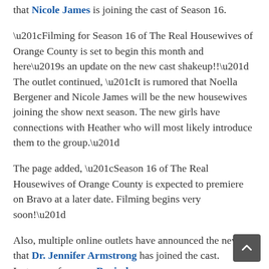that Nicole James is joining the cast of Season 16.
“Filming for Season 16 of The Real Housewives of Orange County is set to begin this month and here’s an update on the new cast shakeup!!” The outlet continued, “It is rumored that Noella Bergener and Nicole James will be the new housewives joining the show next season. The new girls have connections with Heather who will most likely introduce them to the group.”
The page added, “Season 16 of The Real Housewives of Orange County is expected to premiere on Bravo at a later date. Filming begins very soon!”
Also, multiple online outlets have announced the news that Dr. Jennifer Armstrong has joined the cast. Instagram fan page Dorinda